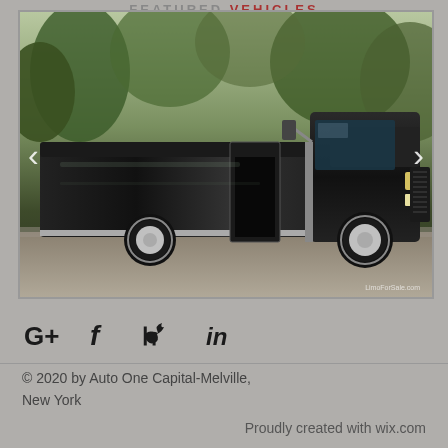FEATURED VEHICLES
[Figure (photo): Black limousine party bus / stretch truck limo with open door, parked on gravel driveway surrounded by trees. Navigation arrows visible on left and right sides. Watermark 'LimoForSale.com' in bottom right.]
G+  f  in
© 2020 by Auto One Capital-Melville, New York
Proudly created with wix.com